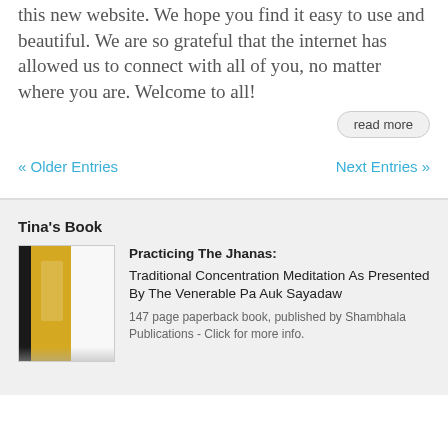this new website. We hope you find it easy to use and beautiful. We are so grateful that the internet has allowed us to connect with all of you, no matter where you are. Welcome to all!
read more
« Older Entries
Next Entries »
Tina's Book
[Figure (photo): Book cover of Practicing The Jhanas with yellow and dark spine]
Practicing The Jhanas: Traditional Concentration Meditation As Presented By The Venerable Pa Auk Sayadaw
147 page paperback book, published by Shambhala Publications - Click for more info.